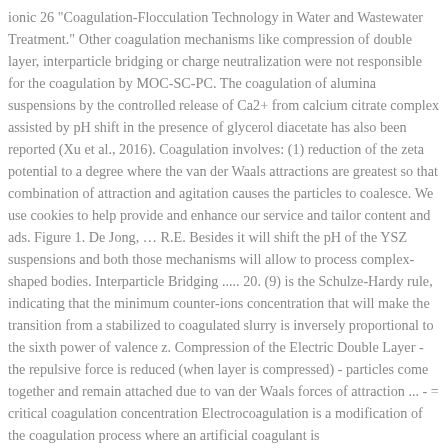ionic 26 "Coagulation-Flocculation Technology in Water and Wastewater Treatment." Other coagulation mechanisms like compression of double layer, interparticle bridging or charge neutralization were not responsible for the coagulation by MOC-SC-PC. The coagulation of alumina suspensions by the controlled release of Ca2+ from calcium citrate complex assisted by pH shift in the presence of glycerol diacetate has also been reported (Xu et al., 2016). Coagulation involves: (1) reduction of the zeta potential to a degree where the van der Waals attractions are greatest so that combination of attraction and agitation causes the particles to coalesce. We use cookies to help provide and enhance our service and tailor content and ads. Figure 1. De Jong, ... R.E. Besides it will shift the pH of the YSZ suspensions and both those mechanisms will allow to process complex-shaped bodies. Interparticle Bridging ..... 20. (9) is the Schulze-Hardy rule, indicating that the minimum counter-ions concentration that will make the transition from a stabilized to coagulated slurry is inversely proportional to the sixth power of valence z. Compression of the Electric Double Layer - the repulsive force is reduced (when layer is compressed) - particles come together and remain attached due to van der Waals forces of attraction ... - = critical coagulation concentration Electrocoagulation is a modification of the coagulation process where an artificial coagulant is...